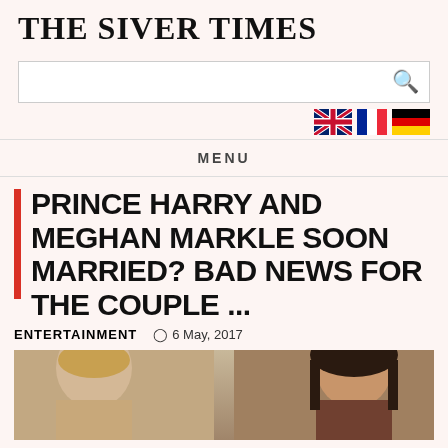THE SIVER TIMES
[Figure (screenshot): Search bar with magnifying glass icon]
[Figure (infographic): Three country flags: UK, France, Germany]
MENU
PRINCE HARRY AND MEGHAN MARKLE SOON MARRIED? BAD NEWS FOR THE COUPLE ...
ENTERTAINMENT   6 May, 2017
[Figure (photo): Photo of Prince Harry and Meghan Markle]